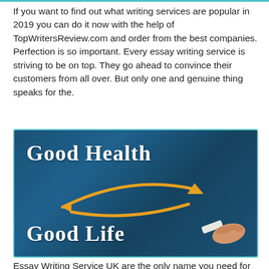If you want to find out what writing services are popular in 2019 you can do it now with the help of TopWritersReview.com and order from the best companies. Perfection is so important. Every essay writing service is striving to be on top. They go ahead to convince their customers from all over. But only one and genuine thing speaks for the.
[Figure (photo): Chalkboard image with white chalk text reading 'Good Health' at the top and 'Good Life' at the bottom, with two orange curved arrows forming a circular loop between the two phrases. A hand holding a piece of chalk is visible at the bottom right.]
Essay Writing Service UK are the only name you need for 100% original and unique writing service. Essay...